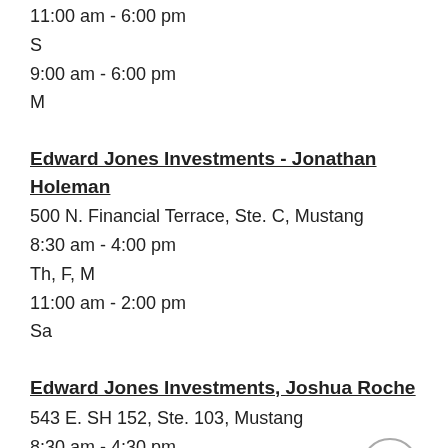11:00 am - 6:00 pm
S
9:00 am - 6:00 pm
M
Edward Jones Investments - Jonathan Holeman
500 N. Financial Terrace, Ste. C, Mustang
8:30 am - 4:00 pm
Th, F, M
11:00 am - 2:00 pm
Sa
Edward Jones Investments, Joshua Roche
543 E. SH 152, Ste. 103, Mustang
8:30 am - 4:30 pm
Th, M
8:30 am - 4:00 pm